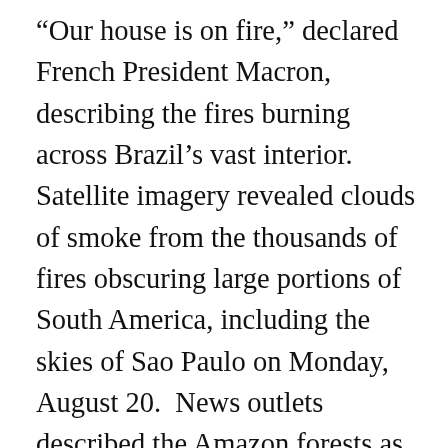“Our house is on fire,” declared French President Macron, describing the fires burning across Brazil’s vast interior.  Satellite imagery revealed clouds of smoke from the thousands of fires obscuring large portions of South America, including the skies of Sao Paulo on Monday, August 20.  News outlets described the Amazon forests as the “lungs of the planet,” and articles warned of the Amazon “tipping” from its present forested state to one in which only savannah ecosystems could survive.  Blame for the fires was laid at the feet of President Bolsonaro, whose anti-environmental, pro-development policies were encouraging rampant